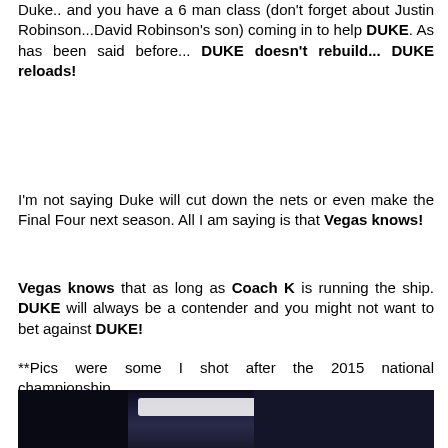Duke.. and you have a 6 man class (don't forget about Justin Robinson...David Robinson's son) coming in to help DUKE. As has been said before... DUKE doesn't rebuild... DUKE reloads!
I'm not saying Duke will cut down the nets or even make the Final Four next season. All I am saying is that Vegas knows!
Vegas knows that as long as Coach K is running the ship. DUKE will always be a contender and you might not want to bet against DUKE!
**Pics were some I shot after the 2015 national championship..
[Figure (photo): Dark photograph taken at an indoor arena/stadium after the 2015 national championship, showing scoreboard or arena ceiling with bright white light highlight visible]